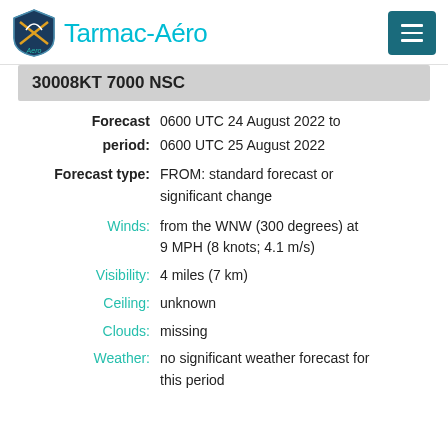Tarmac-Aéro
30008KT 7000 NSC
Forecast period: 0600 UTC 24 August 2022 to 0600 UTC 25 August 2022
Forecast type: FROM: standard forecast or significant change
Winds: from the WNW (300 degrees) at 9 MPH (8 knots; 4.1 m/s)
Visibility: 4 miles (7 km)
Ceiling: unknown
Clouds: missing
Weather: no significant weather forecast for this period